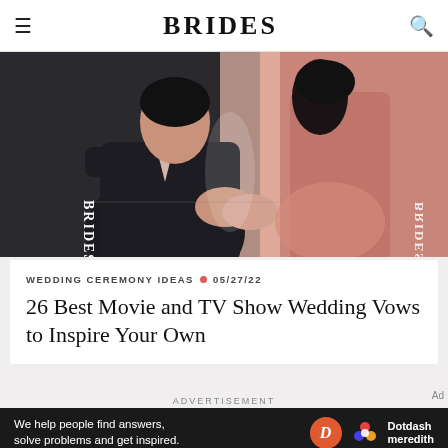BRIDES
[Figure (illustration): Hero illustration showing a couple holding hands — groom in dark suit on left, bride in pink/peach dress on right. BRIDES logo visible on left side and mirrored on right side. Dark moody romantic style.]
WEDDING CEREMONY IDEAS • 05/27/22
26 Best Movie and TV Show Wedding Vows to Inspire Your Own
ADVERTISEMENT
Ad
[Figure (logo): Dotdash Meredith advertisement banner — black background with text 'We help people find answers, solve problems and get inspired.' with D circle logo and Dotdash meredith branding with flower icon.]